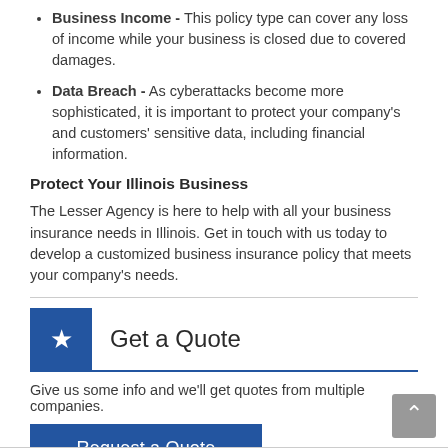Business Income - This policy type can cover any loss of income while your business is closed due to covered damages.
Data Breach - As cyberattacks become more sophisticated, it is important to protect your company's and customers' sensitive data, including financial information.
Protect Your Illinois Business
The Lesser Agency is here to help with all your business insurance needs in Illinois. Get in touch with us today to develop a customized business insurance policy that meets your company's needs.
Get a Quote
Give us some info and we'll get quotes from multiple companies.
Request a Quote